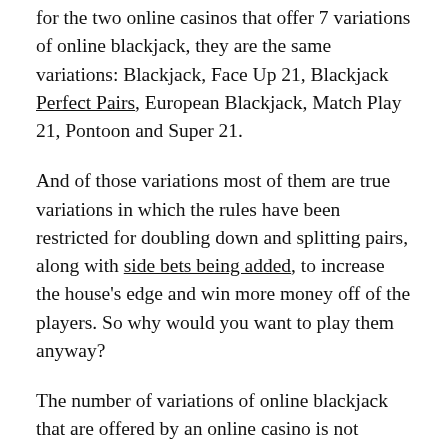for the two online casinos that offer 7 variations of online blackjack, they are the same variations: Blackjack, Face Up 21, Blackjack Perfect Pairs, European Blackjack, Match Play 21, Pontoon and Super 21.
And of those variations most of them are true variations in which the rules have been restricted for doubling down and splitting pairs, along with side bets being added, to increase the house's edge and win more money off of the players. So why would you want to play them anyway?
The number of variations of online blackjack that are offered by an online casino is not indicative of whether it is a good place to play online blackjack or not. There are other more important factors to consider when looking for a place to play online blackjack and tomorrow I will share them.